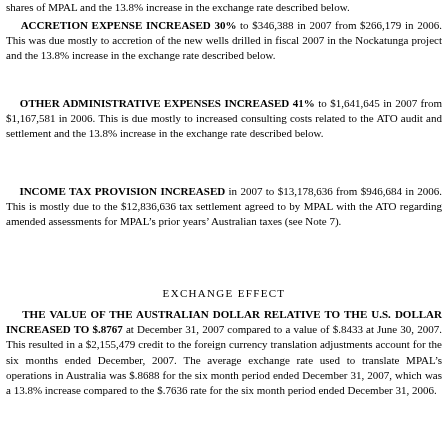shares of MPAL and the 13.8% increase in the exchange rate described below.
ACCRETION EXPENSE INCREASED 30% to $346,388 in 2007 from $266,179 in 2006. This was due mostly to accretion of the new wells drilled in fiscal 2007 in the Nockatunga project and the 13.8% increase in the exchange rate described below.
OTHER ADMINISTRATIVE EXPENSES INCREASED 41% to $1,641,645 in 2007 from $1,167,581 in 2006. This is due mostly to increased consulting costs related to the ATO audit and settlement and the 13.8% increase in the exchange rate described below.
INCOME TAX PROVISION INCREASED in 2007 to $13,178,636 from $946,684 in 2006. This is mostly due to the $12,836,636 tax settlement agreed to by MPAL with the ATO regarding amended assessments for MPAL’s prior years’ Australian taxes (see Note 7).
EXCHANGE EFFECT
THE VALUE OF THE AUSTRALIAN DOLLAR RELATIVE TO THE U.S. DOLLAR INCREASED TO $.8767 at December 31, 2007 compared to a value of $.8433 at June 30, 2007. This resulted in a $2,155,479 credit to the foreign currency translation adjustments account for the six months ended December, 2007. The average exchange rate used to translate MPAL’s operations in Australia was $.8688 for the six month period ended December 31, 2007, which was a 13.8% increase compared to the $.7636 rate for the six month period ended December 31, 2006.